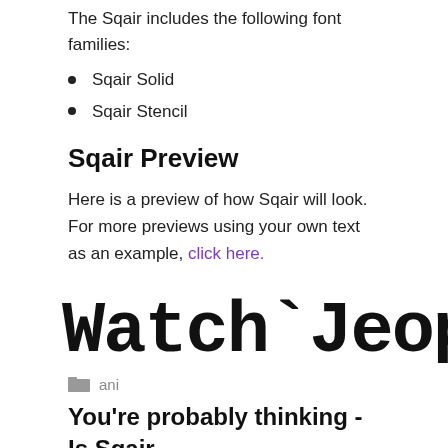The Sqair includes the following font families:
Sqair Solid
Sqair Stencil
Sqair Preview
Here is a preview of how Sqair will look. For more previews using your own text as an example, click here.
[Figure (other): Large display text showing 'Watch `Jeopard' in a custom square/blocky monospace font (Sqair font preview)]
ani
You're probably thinking - Is Sqair